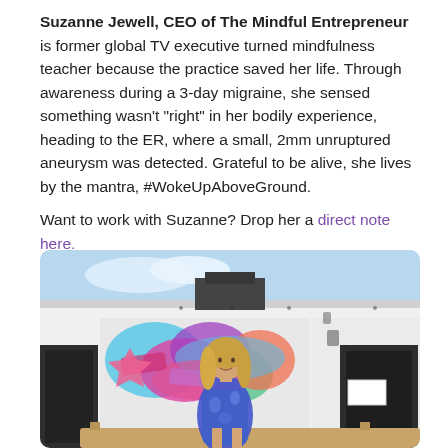Suzanne Jewell, CEO of The Mindful Entrepreneur is former global TV executive turned mindfulness teacher because the practice saved her life. Through awareness during a 3-day migraine, she sensed something wasn't "right" in her bodily experience, heading to the ER, where a small, 2mm unruptured aneurysm was detected. Grateful to be alive, she lives by the mantra, #WokeUpAboveGround.

Want to work with Suzanne? Drop her a direct note here.
[Figure (photo): Photo of a blonde woman standing in front of a colorful graffiti mural on a building exterior, wearing a blue patterned outfit, sitting/standing near a wooden bench.]